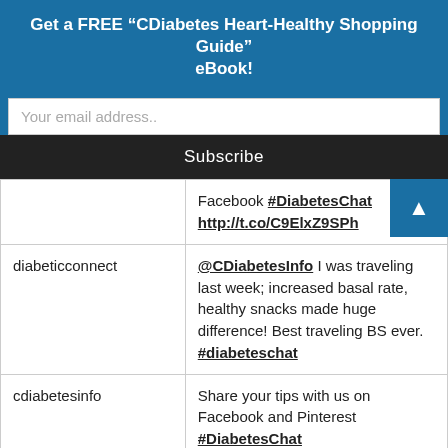Get a FREE “CDiabetes Heart-Healthy Shopping Guide” eBook!
Your email address..
Subscribe
|  |  |
| --- | --- |
|  | Facebook #DiabetesChat http://t.co/C9ElxZ9SPh |
| diabeticconnect | @CDiabetesInfo I was traveling last week; increased basal rate, healthy snacks made huge difference! Best traveling BS ever. #diabeteschat |
| cdiabetesinfo | Share your tips with us on Facebook and Pinterest #DiabetesChat |